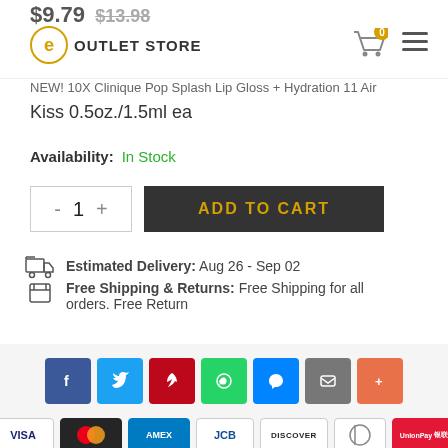$9.79 $13.98 — OUTLET STORE
NEW! 10X Clinique Pop Splash Lip Gloss + Hydration 11 Air Kiss 0.5oz./1.5ml ea
Availability: In Stock
- 1 + ADD TO CART
Estimated Delivery: Aug 26 - Sep 02
Free Shipping & Returns: Free Shipping for all orders. Free Return
[Figure (infographic): Social share buttons: Facebook, Twitter, Pinterest, WhatsApp, Messenger, Email, More]
[Figure (infographic): Payment method icons: VISA, Mastercard, AMEX, JCB, DISCOVER, Diners Club, UnionPay]